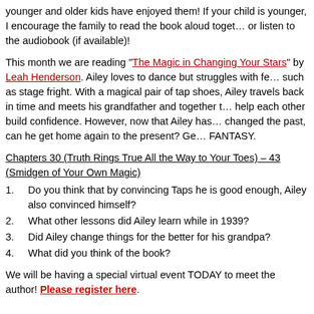younger and older kids have enjoyed them! If your child is younger, I encourage the family to read the book aloud together or listen to the audiobook (if available)!
This month we are reading "The Magic in Changing Your Stars" by Leah Henderson. Ailey loves to dance but struggles with fears such as stage fright. With a magical pair of tap shoes, Ailey travels back in time and meets his grandfather and together they help each other build confidence. However, now that Ailey has changed the past, can he get home again to the present? Genre: FANTASY.
Chapters 30 (Truth Rings True All the Way to Your Toes) – 43 (A Smidgen of Your Own Magic)
Do you think that by convincing Taps he is good enough, Ailey also convinced himself?
What other lessons did Ailey learn while in 1939?
Did Ailey change things for the better for his grandpa?
What did you think of the book?
We will be having a special virtual event TODAY to meet the author! Please register here.